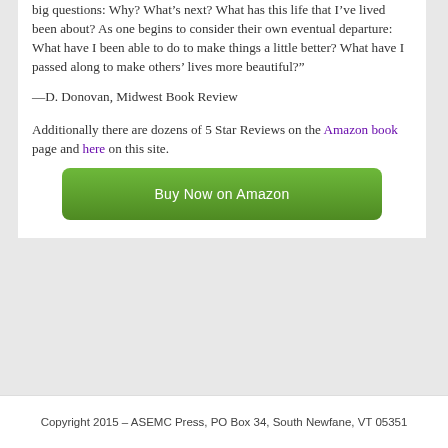big questions: Why? What’s next? What has this life that I’ve lived been about? As one begins to consider their own eventual departure: What have I been able to do to make things a little better? What have I passed along to make others’ lives more beautiful?”
—D. Donovan, Midwest Book Review
Additionally there are dozens of 5 Star Reviews on the Amazon book page and here on this site.
[Figure (other): Green 'Buy Now on Amazon' button]
Copyright 2015 – ASEMC Press, PO Box 34, South Newfane, VT 05351